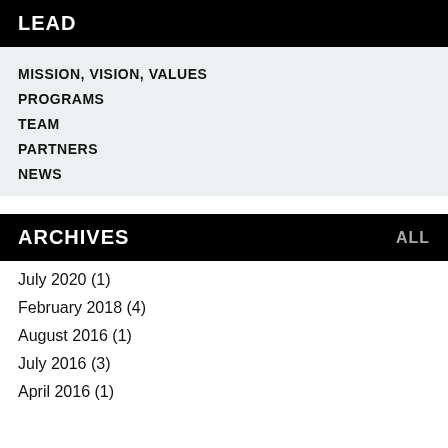LEAD
MISSION, VISION, VALUES
PROGRAMS
TEAM
PARTNERS
NEWS
ARCHIVES ALL
July 2020 (1)
February 2018 (4)
August 2016 (1)
July 2016 (3)
April 2016 (1)